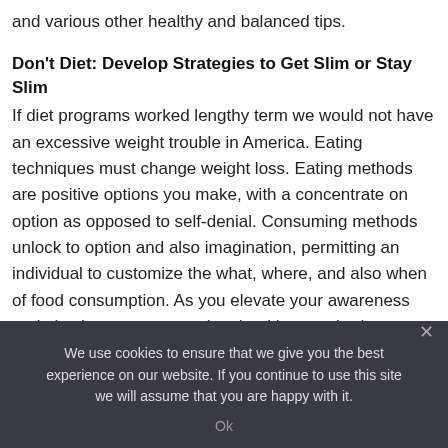and various other healthy and balanced tips.
Don't Diet: Develop Strategies to Get Slim or Stay Slim
If diet programs worked lengthy term we would not have an excessive weight trouble in America. Eating techniques must change weight loss. Eating methods are positive options you make, with a concentrate on option as opposed to self-denial. Consuming methods unlock to option and also imagination, permitting an individual to customize the what, where, and also when of food consumption. As you elevate your awareness and also learn to assume in a healthy standard, success will certainly come.
We use cookies to ensure that we give you the best experience on our website. If you continue to use this site we will assume that you are happy with it.
Ok